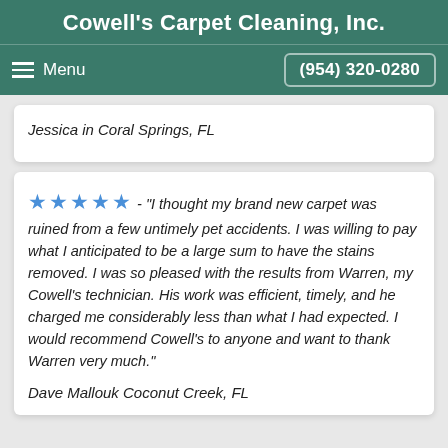Cowell's Carpet Cleaning, Inc.
Menu | (954) 320-0280
Jessica in Coral Springs, FL
★★★★★ - "I thought my brand new carpet was ruined from a few untimely pet accidents. I was willing to pay what I anticipated to be a large sum to have the stains removed. I was so pleased with the results from Warren, my Cowell's technician. His work was efficient, timely, and he charged me considerably less than what I had expected. I would recommend Cowell's to anyone and want to thank Warren very much."
Dave Mallouk Coconut Creek, FL